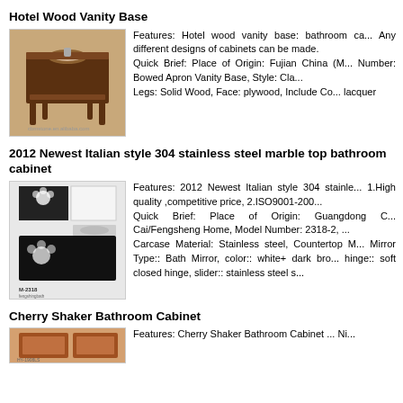Hotel Wood Vanity Base
[Figure (photo): Dark wood hotel vanity base cabinet with sink cutout and lower shelf, four curved legs]
Features: Hotel wood vanity base: bathroom ca... Any different designs of cabinets can be made. Quick Brief: Place of Origin: Fujian China (M... Number: Bowed Apron Vanity Base, Style: Cla... Legs: Solid Wood, Face: plywood, Include Co... lacquer
2012 Newest Italian style 304 stainless steel marble top bathroom cabinet
[Figure (photo): Black and white Italian style bathroom cabinet with floral pattern, model M-2318]
Features: 2012 Newest Italian style 304 stainle... 1.High quality ,competitive price, 2.ISO9001-200... Quick Brief: Place of Origin: Guangdong C... Cai/Fengsheng Home, Model Number: 2318-2, ... Carcase Material: Stainless steel, Countertop M... Mirror Type:: Bath Mirror, color:: white+ dark bro... hinge:: soft closed hinge, slider:: stainless steel s...
Cherry Shaker Bathroom Cabinet
[Figure (photo): Cherry Shaker Bathroom Cabinet product image]
Features: Cherry Shaker Bathroom Cabinet ... Ni...